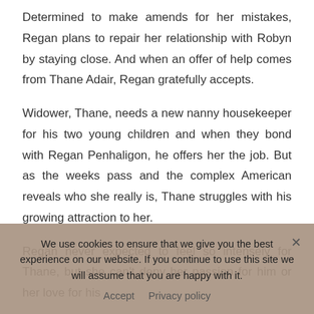Determined to make amends for her mistakes, Regan plans to repair her relationship with Robyn by staying close. And when an offer of help comes from Thane Adair, Regan gratefully accepts.
Widower, Thane, needs a new nanny housekeeper for his two young children and when they bond with Regan Penhaligon, he offers her the job. But as the weeks pass and the complex American reveals who she really is, Thane struggles with his growing attraction to her.
Regan never expected to feel so intensely for Thane, but she can't deny her passion for him or her love for his
We use cookies to ensure that we give you the best experience on our website. If you continue to use this site we will assume that you are happy with it.
Accept   Privacy policy